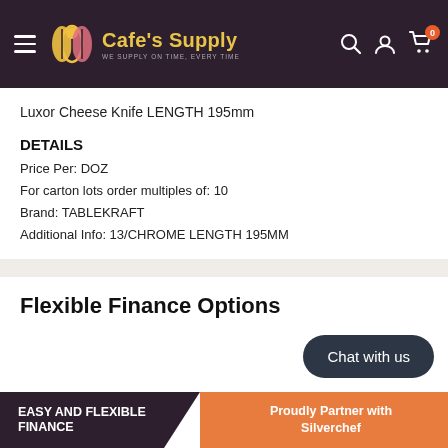Cafe's Supply — WE SUPPLY ON TIME, EVERY TIME
Luxor Cheese Knife LENGTH 195mm
DETAILS
Price Per: DOZ
For carton lots order multiples of: 10
Brand: TABLEKRAFT
Additional Info: 13/CHROME LENGTH 195MM
Flexible Finance Options
Chat with us
EASY AND FLEXIBLE FINANCE — Proudly Partner with Silverchef